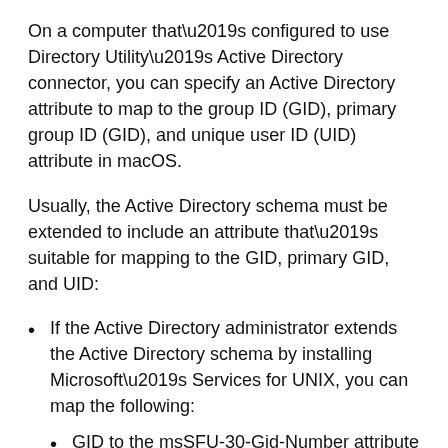On a computer that’s configured to use Directory Utility’s Active Directory connector, you can specify an Active Directory attribute to map to the group ID (GID), primary group ID (GID), and unique user ID (UID) attribute in macOS.
Usually, the Active Directory schema must be extended to include an attribute that’s suitable for mapping to the GID, primary GID, and UID:
If the Active Directory administrator extends the Active Directory schema by installing Microsoft’s Services for UNIX, you can map the following:
GID to the msSFU-30-Gid-Number attribute
Primary GID to the msSFU-30-Gid-Number attribute
UID to the msSFU-30-Uid-Number attribute